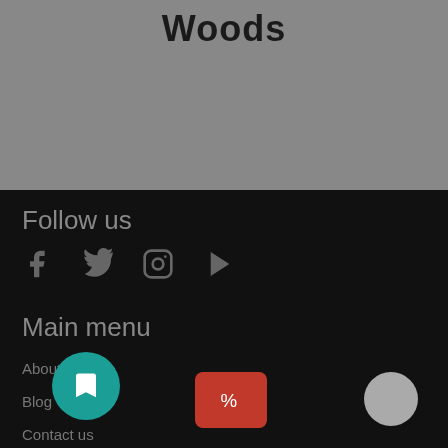Woods
Follow us
[Figure (other): Social media icons: Facebook, Twitter, Instagram, YouTube]
Main menu
About Us
Blog
Contact us
Exotic Wood Species Information
G...
The Woodturners